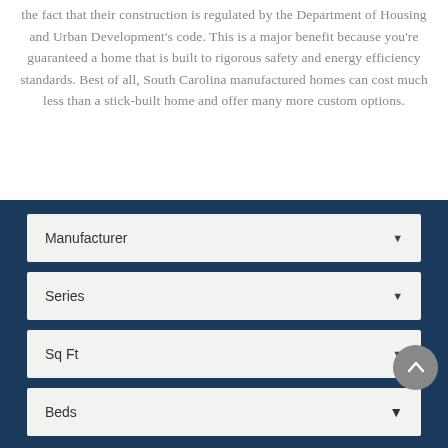the fact that their construction is regulated by the Department of Housing and Urban Development's code. This is a major benefit because you're guaranteed a home that is built to rigorous safety and energy efficiency standards. Best of all, South Carolina manufactured homes can cost much less than a stick-built home and offer many more custom options.
[Figure (screenshot): Dark navy blue panel with four dropdown UI elements labeled: Manufacturer, Series, Sq Ft, Beds. Each dropdown has a down-arrow indicator on the right. A circular gray scroll-to-top button overlaps the lower right portion of the panel.]